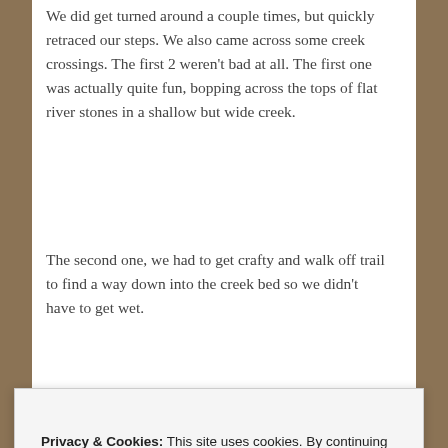We did get turned around a couple times, but quickly retraced our steps. We also came across some creek crossings. The first 2 weren't bad at all. The first one was actually quite fun, bopping across the tops of flat river stones in a shallow but wide creek.
The second one, we had to get crafty and walk off trail to find a way down into the creek bed so we didn't have to get wet.
[Figure (photo): A photo showing a lush green forest with sunlight filtering through tree canopy, showing bright yellow-green foliage.]
Privacy & Cookies: This site uses cookies. By continuing to use this website, you agree to their use.
To find out more, including how to control cookies, see here: Cookie Policy